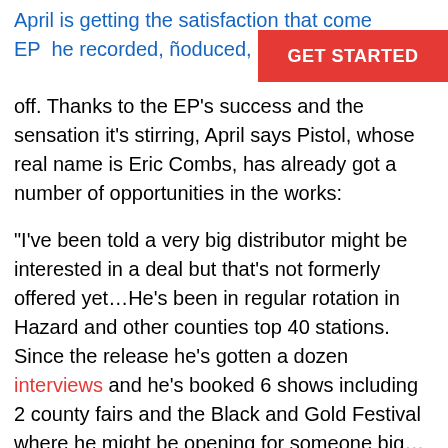April is getting the satisfaction that comes EP he recorded, floduced, mixed, and off.
GET STARTED
off. Thanks to the EP's success and the sensation it's stirring, April says Pistol, whose real name is Eric Combs, has already got a number of opportunities in the works:
“I've been told a very big distributor might be interested in a deal but that’s not formerly offered yet…He’s been in regular rotation in Hazard and other counties top 40 stations. Since the release he’s gotten a dozen interviews and he’s booked 6 shows including 2 county fairs and the Black and Gold Festival where he might be opening for someone big…He just dropped a music video today and it’s gotten 2k views in 3 hours.”
So how’d it all come to be?
Pistol first walked into Nitrosonic, back in October of 2017. April admits she had her misconceptions, at first,